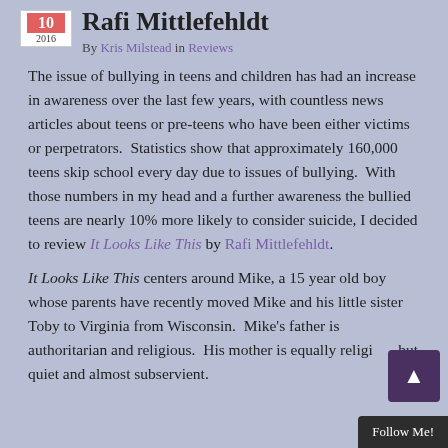10 2016 Rafi Mittlefehldt
By Kris Milstead in Reviews
The issue of bullying in teens and children has had an increase in awareness over the last few years, with countless news articles about teens or pre-teens who have been either victims or perpetrators. Statistics show that approximately 160,000 teens skip school every day due to issues of bullying. With those numbers in my head and a further awareness the bullied teens are nearly 10% more likely to consider suicide, I decided to review It Looks Like This by Rafi Mittlefehldt.
It Looks Like This centers around Mike, a 15 year old boy whose parents have recently moved Mike and his little sister Toby to Virginia from Wisconsin. Mike’s father is authoritarian and religious. His mother is equally religious but quiet and almost subservient.